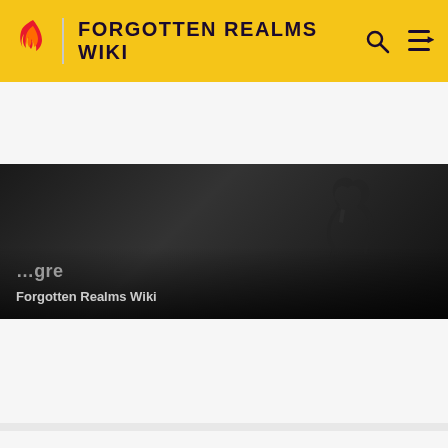FORGOTTEN REALMS WIKI
[Figure (screenshot): Partially visible wiki article card with dark background and silhouette figure, label text partially cut off at top, showing 'Forgotten Realms Wiki' subtitle]
[Figure (illustration): Article card for Ulutiu showing a dark fantasy creature illustration with warm reddish-brown tones, muscular figure with studded armor, overlaid with title 'Ulutiu' and subtitle 'Forgotten Realms Wiki']
[Figure (illustration): Partially visible article card at bottom of page showing ornamental golden-toned fantasy artwork]